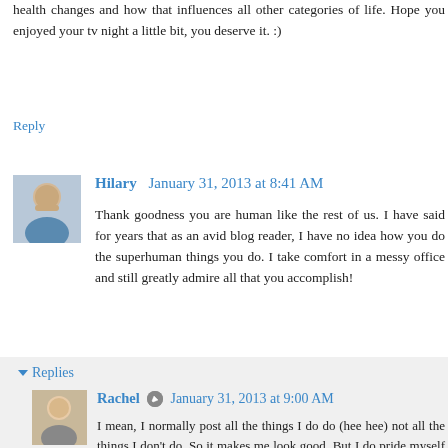health changes and how that influences all other categories of life. Hope you enjoyed your tv night a little bit, you deserve it. :)
Reply
Hilary  January 31, 2013 at 8:41 AM
Thank goodness you are human like the rest of us. I have said for years that as an avid blog reader, I have no idea how you do the superhuman things you do. I take comfort in a messy office and still greatly admire all that you accomplish!
Reply
Replies
Rachel  January 31, 2013 at 9:00 AM
I mean, I normally post all the things I do do (hee hee) not all the things I don't do. So it makes me look good. But I do pride myself on being fairly efficient when I'm in my prime!